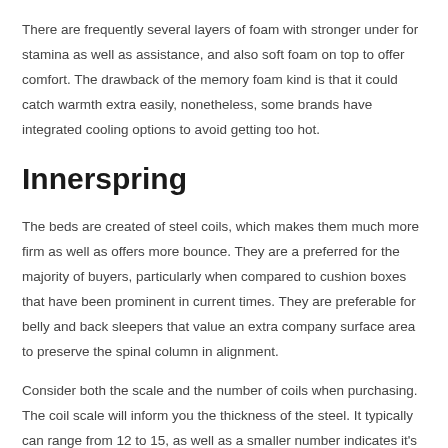There are frequently several layers of foam with stronger under for stamina as well as assistance, and also soft foam on top to offer comfort. The drawback of the memory foam kind is that it could catch warmth extra easily, nonetheless, some brands have integrated cooling options to avoid getting too hot.
Innerspring
The beds are created of steel coils, which makes them much more firm as well as offers more bounce. They are a preferred for the majority of buyers, particularly when compared to cushion boxes that have been prominent in current times. They are preferable for belly and back sleepers that value an extra company surface area to preserve the spinal column in alignment.
Consider both the scale and the number of coils when purchasing. The coil scale will inform you the thickness of the steel. It typically can range from 12 to 15, as well as a smaller number indicates it's